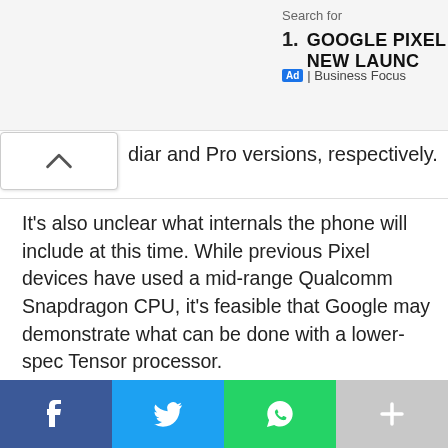Search for
1. GOOGLE PIXEL NEW LAUNC
Ad | Business Focus
diar and Pro versions, respectively.
It's also unclear what internals the phone will include at this time. While previous Pixel devices have used a mid-range Qualcomm Snapdragon CPU, it's feasible that Google may demonstrate what can be done with a lower-spec Tensor processor.
Given that Google's initial Tensor chip gave Qualcomm a run for its money, it'd be surprising if Google didn't take advantage of this chance to further establish its own hardware as a credible rival, but we'll have to wait and see.
f  |  twitter  |  whatsapp  |  +